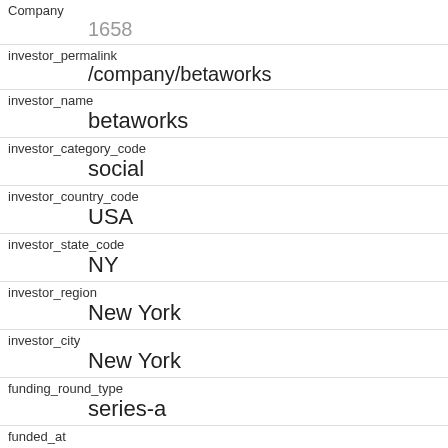Company
1658
investor_permalink
/company/betaworks
investor_name
betaworks
investor_category_code
social
investor_country_code
USA
investor_state_code
NY
investor_region
New York
investor_city
New York
funding_round_type
series-a
funded_at
1193788800
funded_year